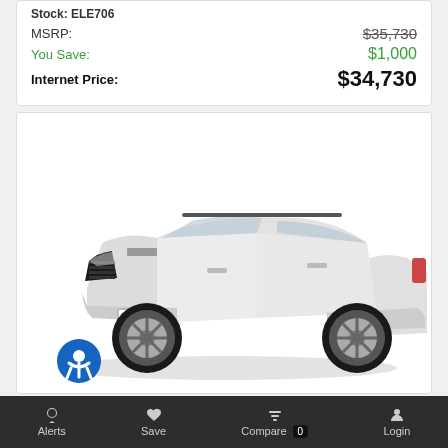Stock: ELE706
| Label | Value |
| --- | --- |
| MSRP: | $35,730 |
| You Save: | $1,000 |
| Internet Price: | $34,730 |
[Figure (photo): White Jeep Cherokee SUV, front three-quarter view on white background]
Alerts   Save   Compare 0   Login